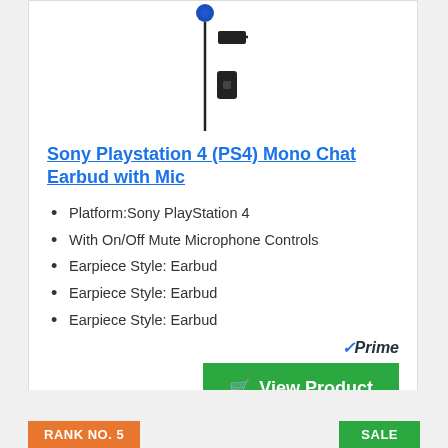[Figure (photo): Sony PS4 mono chat earbud with mic — shows earphone cable with inline microphone/control block]
Sony Playstation 4 (PS4) Mono Chat Earbud with Mic
Platform:Sony PlayStation 4
With On/Off Mute Microphone Controls
Earpiece Style: Earbud
Earpiece Style: Earbud
Earpiece Style: Earbud
✓Prime
View Product
RANK NO. 5
SALE